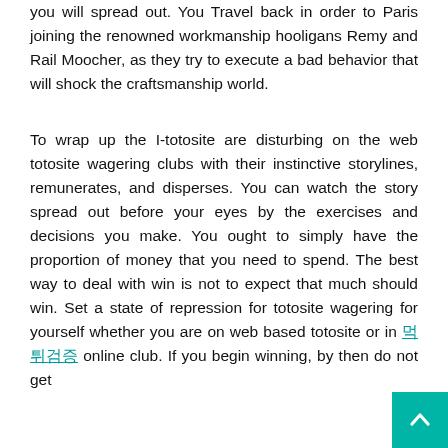you will spread out. You Travel back in order to Paris joining the renowned workmanship hooligans Remy and Rail Moocher, as they try to execute a bad behavior that will shock the craftsmanship world.
To wrap up the I-totosite are disturbing on the web totosite wagering clubs with their instinctive storylines, remunerates, and disperses. You can watch the story spread out before your eyes by the exercises and decisions you make. You ought to simply have the proportion of money that you need to spend. The best way to deal with win is not to expect that much should win. Set a state of repression for totosite wagering for yourself whether you are on web based totosite or in 먹튀검증 online club. If you begin winning, by then do not get